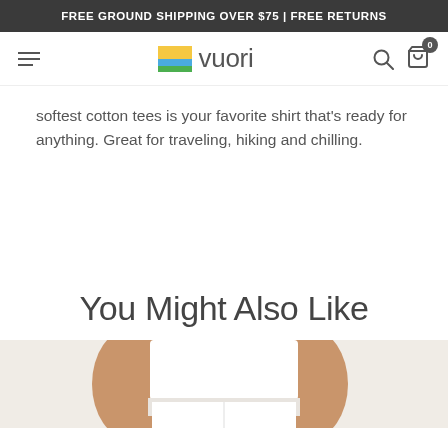FREE GROUND SHIPPING OVER $75 | FREE RETURNS
[Figure (logo): Vuori logo with colorful square icon and brand name 'vuori' in gray text, with hamburger menu, search icon, and cart icon with badge '0']
softest cotton tees is your favorite shirt that's ready for anything. Great for traveling, hiking and chilling.
You Might Also Like
[Figure (photo): Partial photo of a model wearing a white cropped top and shorts, showing torso area, on a light beige background]